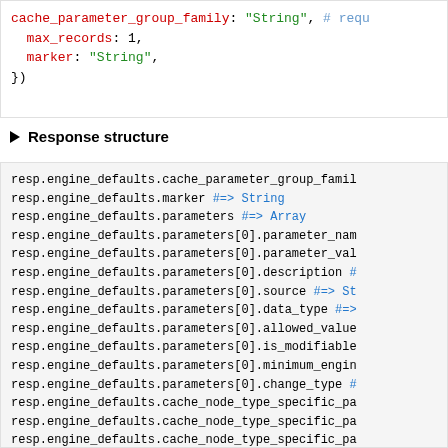cache_parameter_group_family: "String", # requ
  max_records: 1,
  marker: "String",
})
▶ Response structure
resp.engine_defaults.cache_parameter_group_famil
resp.engine_defaults.marker #=> String
resp.engine_defaults.parameters #=> Array
resp.engine_defaults.parameters[0].parameter_nam
resp.engine_defaults.parameters[0].parameter_val
resp.engine_defaults.parameters[0].description #
resp.engine_defaults.parameters[0].source #=> St
resp.engine_defaults.parameters[0].data_type #=>
resp.engine_defaults.parameters[0].allowed_value
resp.engine_defaults.parameters[0].is_modifiable
resp.engine_defaults.parameters[0].minimum_engin
resp.engine_defaults.parameters[0].change_type #
resp.engine_defaults.cache_node_type_specific_pa
resp.engine_defaults.cache_node_type_specific_pa
resp.engine_defaults.cache_node_type_specific_pa
resp.engine_defaults.cache_node_type_specific_pa